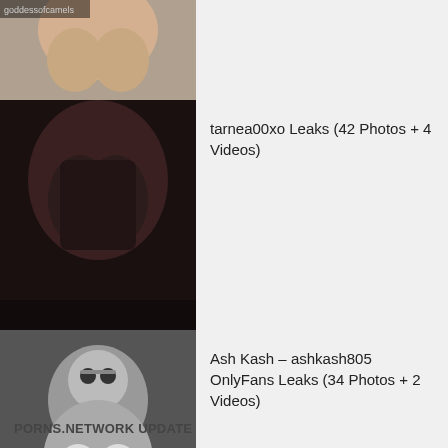[Figure (photo): Partial thumbnail of a person, cropped at top of page]
tarnea00xo Leaks (42 Photos + 4 Videos)
[Figure (photo): Dark toned thumbnail image]
Ash Kash – ashkash805 OnlyFans Leaks (34 Photos + 2 Videos)
[Figure (photo): Black and white thumbnail of a woman with glasses]
waifu cleo blossom – cloeblossom OnlyFans Leaks (50 Photos + 3 Videos)
[Figure (photo): Thumbnail of woman in pink top]
PORNS.NETWORK UPDATE